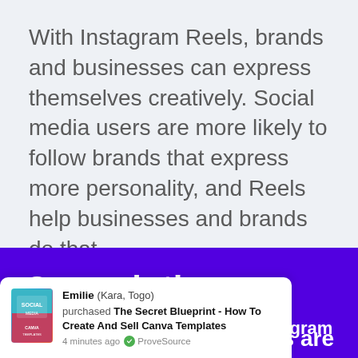With Instagram Reels, brands and businesses can express themselves creatively. Social media users are more likely to follow brands that express more personality, and Reels help businesses and brands do that.
Our solution
Social Media Calendar For Instagram Reels
[Figure (screenshot): A ProveSource notification popup showing Emilie from Kara, Togo purchased The Secret Blueprint - How To Create And Sell Canva Templates, 4 minutes ago, with a book cover thumbnail.]
nths are